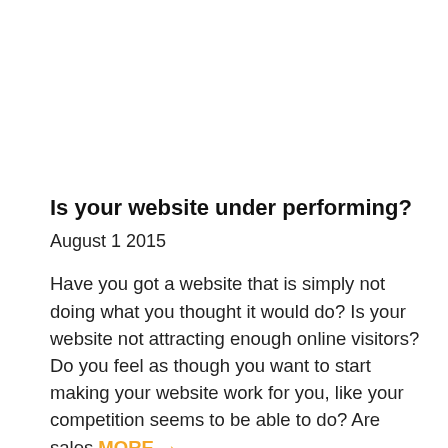Is your website under performing?
August 1 2015
Have you got a website that is simply not doing what you thought it would do? Is your website not attracting enough online visitors? Do you feel as though you want to start making your website work for you, like your competition seems to be able to do? Are sales MORE →